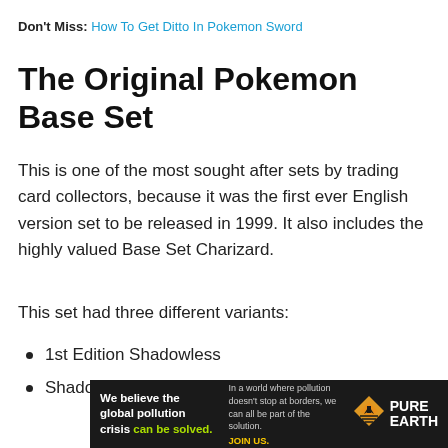Don't Miss: How To Get Ditto In Pokemon Sword
The Original Pokemon Base Set
This is one of the most sought after sets by trading card collectors, because it was the first ever English version set to be released in 1999. It also includes the highly valued Base Set Charizard.
This set had three different variants:
1st Edition Shadowless
Shadowless
[Figure (infographic): Advertisement banner for Pure Earth organization. Black background with text 'We believe the global pollution crisis can be solved.' in white and green, smaller text 'In a world where pollution doesn't stop at borders, we can all be part of the solution. JOIN US.' and Pure Earth logo with diamond/arrow icon.]